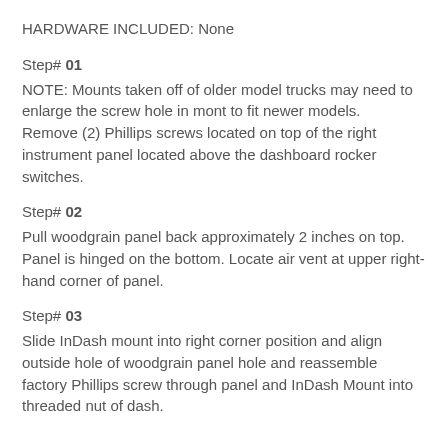HARDWARE INCLUDED: None
Step# 01
NOTE: Mounts taken off of older model trucks may need to enlarge the screw hole in mont to fit newer models.
Remove (2) Phillips screws located on top of the right instrument panel located above the dashboard rocker switches.
Step# 02
Pull woodgrain panel back approximately 2 inches on top. Panel is hinged on the bottom. Locate air vent at upper right-hand corner of panel.
Step# 03
Slide InDash mount into right corner position and align outside hole of woodgrain panel hole and reassemble factory Phillips screw through panel and InDash Mount into threaded nut of dash.